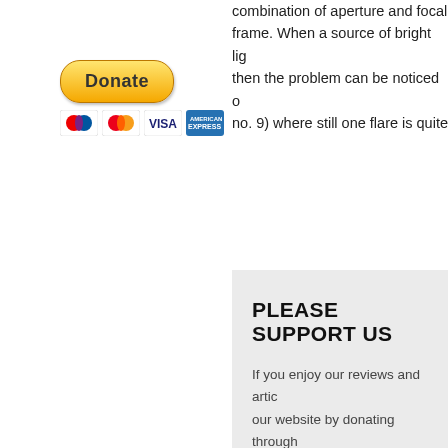combination of aperture and focal... frame. When a source of bright lig... then the problem can be noticed o... no. 9) where still one flare is quite...
[Figure (other): PayPal Donate button with payment icons: Maestro, Mastercard, VISA, American Express]
PLEASE SUPPORT US
If you enjoy our reviews and artic... our website by donating through ... editorial team, renting servers, a... to continue providing you interes...